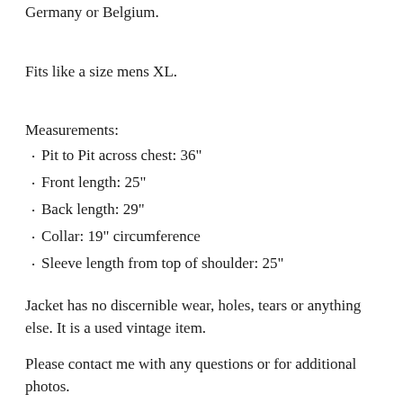Germany or Belgium.
Fits like a size mens XL.
Measurements:
Pit to Pit across chest: 36"
Front length: 25"
Back length: 29"
Collar: 19" circumference
Sleeve length from top of shoulder: 25"
Jacket has no discernible wear, holes, tears or anything else. It is a used vintage item.
Please contact me with any questions or for additional photos.
...